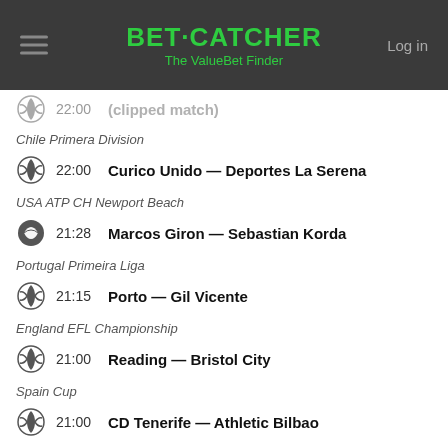BET·CATCHER The ValueBet Finder
Chile Primera Division
22:00  Curico Unido — Deportes La Serena
USA ATP CH Newport Beach
21:28  Marcos Giron — Sebastian Korda
Portugal Primeira Liga
21:15  Porto — Gil Vicente
England EFL Championship
21:00  Reading — Bristol City
Spain Cup
21:00  CD Tenerife — Athletic Bilbao
England EFL League One
21:00  Bolton Wanderers — Bristol Rovers